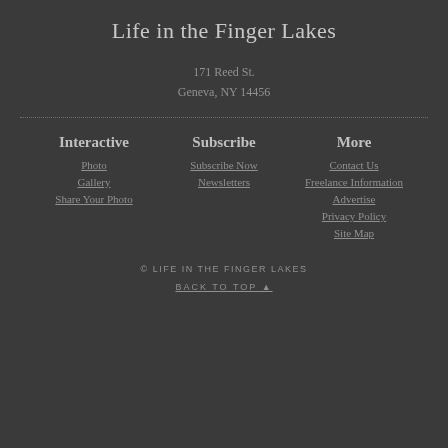Life in the Finger Lakes
171 Reed St.
Geneva, NY 14456
Photo
Gallery
Share Your Photo
Subscribe Now
Newsletters
Contact Us
Freelance Information
Advertise
Privacy Policy
Site Map
© LIFE IN THE FINGER LAKES
BACK TO TOP ▲